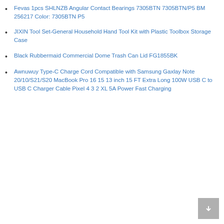Fevas 1pcs SHLNZB Angular Contact Bearings 7305BTN 7305BTN/P5 BM 256217 Color: 7305BTN P5
JIXIN Tool Set-General Household Hand Tool Kit with Plastic Toolbox Storage Case
Black Rubbermaid Commercial Dome Trash Can Lid FG1855BK
Awnuwuy Type-C Charge Cord Compatible with Samsung Gaxlay Note 20/10/S21/S20 MacBook Pro 16 15 13 inch 15 FT Extra Long 100W USB C to USB C Charger Cable Pixel 4 3 2 XL 5A Power Fast Charging